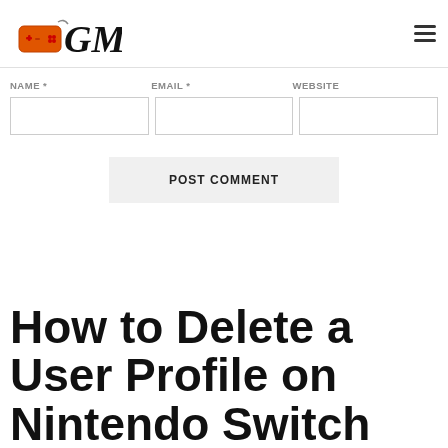GM (gaming website logo header with navigation)
NAME * EMAIL * WEBSITE
[Input fields for Name, Email, Website]
POST COMMENT
How to Delete a User Profile on Nintendo Switch